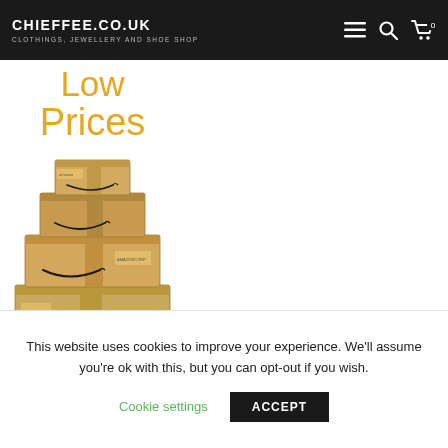CHIEFFEE.CO.UK – CLOTHINGS, JEWELLERY AND SHOE SHOP
[Figure (illustration): Orange text reading 'Low Prices' above a stack of Amazon cardboard boxes of various sizes]
This website uses cookies to improve your experience. We'll assume you're ok with this, but you can opt-out if you wish.
Cookie settings    ACCEPT